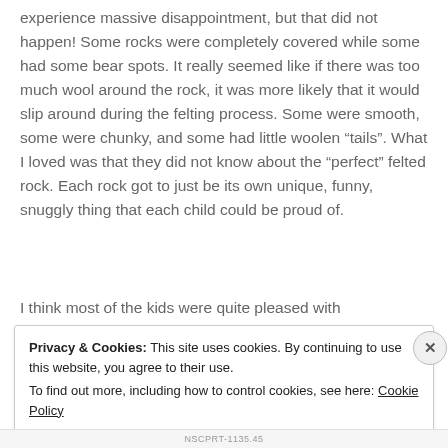experience massive disappointment, but that did not happen! Some rocks were completely covered while some had some bear spots. It really seemed like if there was too much wool around the rock, it was more likely that it would slip around during the felting process. Some were smooth, some were chunky, and some had little woolen “tails”. What I loved was that they did not know about the “perfect” felted rock. Each rock got to just be its own unique, funny, snuggly thing that each child could be proud of.
I think most of the kids were quite pleased with
Privacy & Cookies: This site uses cookies. By continuing to use this website, you agree to their use.
To find out more, including how to control cookies, see here: Cookie Policy
Close and accept